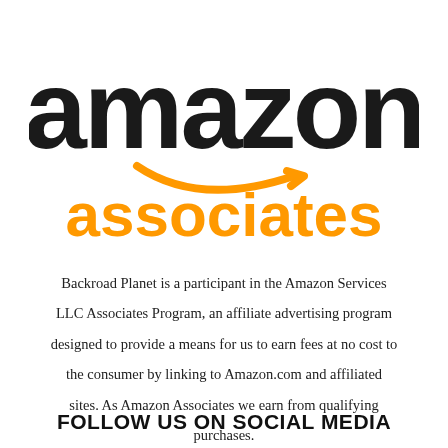[Figure (logo): Amazon Associates logo: 'amazon' in large black bold text with orange smile/arrow underneath, 'associates' in large orange bold text below]
Backroad Planet is a participant in the Amazon Services LLC Associates Program, an affiliate advertising program designed to provide a means for us to earn fees at no cost to the consumer by linking to Amazon.com and affiliated sites. As Amazon Associates we earn from qualifying purchases.
FOLLOW US ON SOCIAL MEDIA